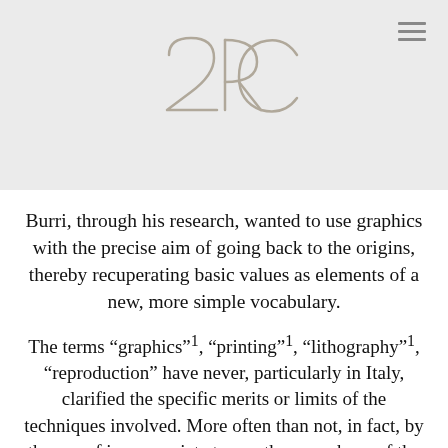2RC logo and navigation
Burri, through his research, wanted to use graphics with the precise aim of going back to the origins, thereby recuperating basic values as elements of a new, more simple vocabulary.
The terms “graphics”1, “printing”1, “lithography”1, “reproduction” have never, particularly in Italy, clarified the specific merits or limits of the techniques involved. More often than not, in fact, by the use of inappropriate terms, they are shorn of the true values which distinguish the work of art from a mere reproduction. Not one of Burri’s graphics, for example, can fea[ture] any